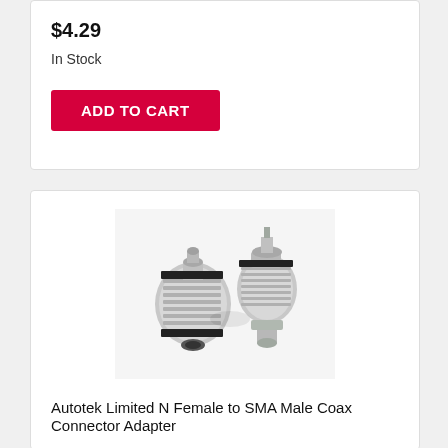$4.29
In Stock
ADD TO CART
[Figure (photo): Two silver N Female to SMA Male coax connector adapters photographed on white background]
Autotek Limited N Female to SMA Male Coax Connector Adapter
$3.29
In Stock